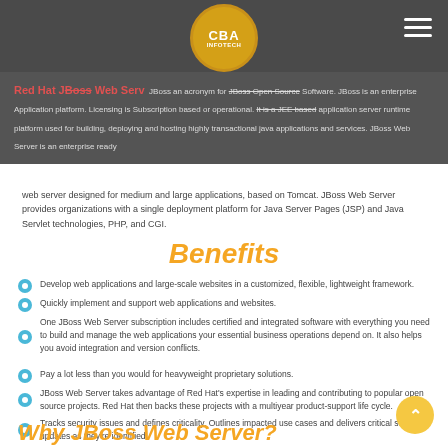Red Hat JBoss Web Server — CBA Infotech
JBoss an acronym for JBoss Open Source Software. JBoss is an enterprise Application platform. Licensing is Subscription based or operational. It is a JEE based application server runtime platform used for building, deploying and hosting highly transactional java applications and services. JBoss Web Server is an enterprise ready web server designed for medium and large applications, based on Tomcat. JBoss Web Server provides organizations with a single deployment platform for Java Server Pages (JSP) and Java Servlet technologies, PHP, and CGI.
Benefits
Develop web applications and large-scale websites in a customized, flexible, lightweight framework.
Quickly implement and support web applications and websites.
One JBoss Web Server subscription includes certified and integrated software with everything you need to build and manage the web applications your essential business operations depend on. It also helps you avoid integration and version conflicts.
Pay a lot less than you would for heavyweight proprietary solutions.
JBoss Web Server takes advantage of Red Hat's expertise in leading and contributing to popular open source projects. Red Hat then backs these projects with a multiyear product-support life cycle.
Tracks security issues and defines criticality. Outlines impacted use cases and delivers critical security updates as they're identified.
Why JBoss Web Server?